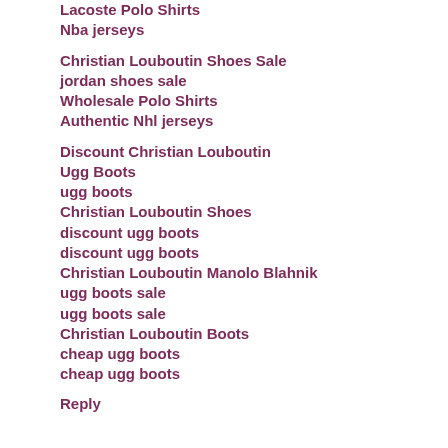Lacoste Polo Shirts
Nba jerseys
Christian Louboutin Shoes Sale
jordan shoes sale
Wholesale Polo Shirts
Authentic Nhl jerseys
Discount Christian Louboutin
Ugg Boots
ugg boots
Christian Louboutin Shoes
discount ugg boots
discount ugg boots
Christian Louboutin Manolo Blahnik
ugg boots sale
ugg boots sale
Christian Louboutin Boots
cheap ugg boots
cheap ugg boots
Reply